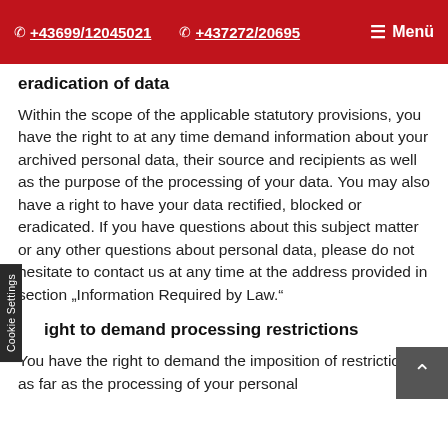+43699/12045021  +437272/20695  Menü
eradication of data
Within the scope of the applicable statutory provisions, you have the right to at any time demand information about your archived personal data, their source and recipients as well as the purpose of the processing of your data. You may also have a right to have your data rectified, blocked or eradicated. If you have questions about this subject matter or any other questions about personal data, please do not hesitate to contact us at any time at the address provided in section „Information Required by Law.“
ight to demand processing restrictions
You have the right to demand the imposition of restrictions as far as the processing of your personal